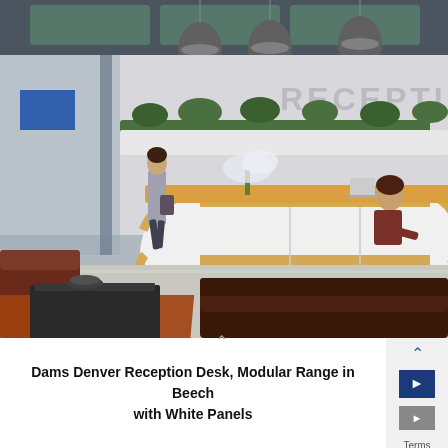[Figure (photo): Interior photo of a modern office reception area. A large curved reception desk with white panels and beech wood trim sits in the center. A receptionist is seated behind the desk. The word RECEPTION is displayed on the back wall. Pendant lights hang from the ceiling. In the foreground are dark brown sofas and an orange rug with a black coffee table. A person walks in the background.]
Dams Denver Reception Desk, Modular Range in Beech with White Panels